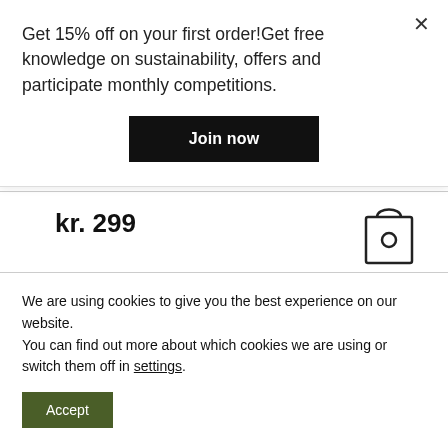Get 15% off on your first order!Get free knowledge on sustainability, offers and participate monthly competitions.
Join now
kr. 299
[Figure (illustration): Shopping bag icon outline with a small circle in the center]
[Figure (photo): Top of a dark-colored knit beanie hat, partially visible at the bottom of the page]
We are using cookies to give you the best experience on our website.
You can find out more about which cookies we are using or switch them off in settings.
Accept